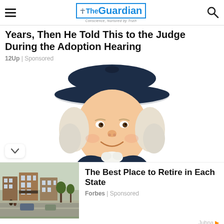The Guardian — Conscience, Nurtured by Truth
Years, Then He Told This to the Judge During the Adoption Hearing
12Up | Sponsored
[Figure (illustration): Illustration of the Quaker Oats man: a smiling man with white curly hair wearing a dark navy hat and coat with a white ruffled collar, set against a white background.]
The Best Place to Retire in Each State
Forbes | Sponsored
Jubna